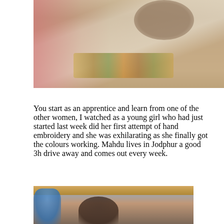[Figure (photo): Close-up photo of hands holding white embroidered fabric with colorful embroidery pattern along the bottom edge, resting on a tan surface with pink fabric visible on the left]
You start as an apprentice and learn from one of the other women, I watched as a young girl who had just started last week did her first attempt of hand embroidery and she was exhilarating as she finally got the colours working. Mahdu lives in Jodphur a good 3h drive away and comes out every week.
[Figure (photo): Photo showing people including a child with dark hair in the foreground and a person in a blue shirt, with a wooden beam or shelf visible at the top]